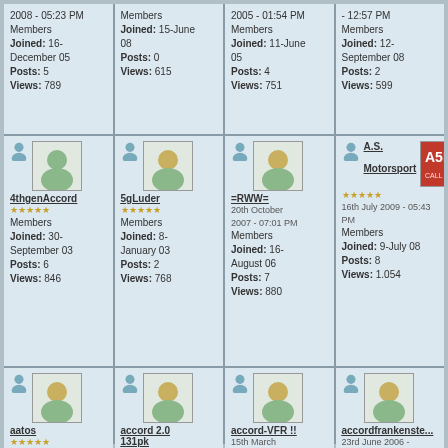| Members
Joined: 16-December 05
Posts: 5
Views: 789 | Members
Joined: 15-June 08
Posts: 0
Views: 615 | Members
Joined: 11-June 05
Posts: 4
Views: 751 | Members
Joined: 12-September 08
Posts: 2
Views: 599 |
| 4thgenAccord
Members
Joined: 30-September 03
Posts: 6
Views: 846 | 5gLuder
Members
Joined: 8-January 03
Posts: 2
Views: 768 | =RWW=
Members
Joined: 16-August 06
Posts: 7
Views: 880 | A.S. Motorsport
Members
Joined: 9-July 08
Posts: 8
Views: 1.054 |
| aatos
Members
Joined: 10-June 06
Posts: 3
Views: 724 | accord 2.0 131pk
Members
Joined: 3-June 07
Posts: 0
Views: 697 | accord-VFR !!
Members
Joined: 7-January 06
Posts: 5
Views: 844 | accordfrankenste...
Members
Joined: 21-November 05
Posts: 38
Views: 727 |